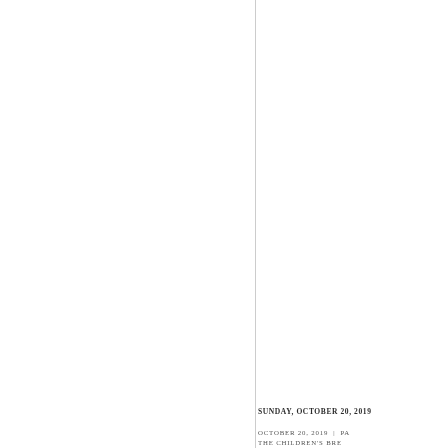SUNDAY, OCTOBER 20, 2019
OCTOBER 20, 2019 | PA
THE CHILDREN'S BRE